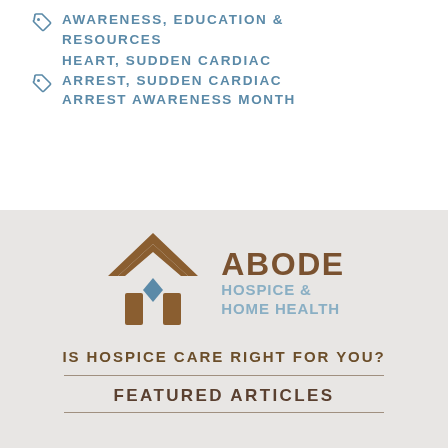AWARENESS, EDUCATION & RESOURCES
HEART, SUDDEN CARDIAC ARREST, SUDDEN CARDIAC ARREST AWARENESS MONTH
[Figure (logo): Abode Hospice & Home Health logo with house/chevron icon in brown and blue]
IS HOSPICE CARE RIGHT FOR YOU?
FEATURED ARTICLES